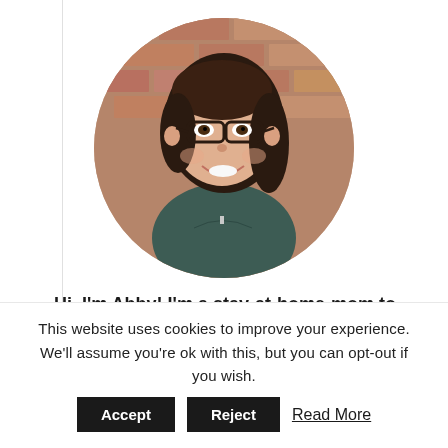[Figure (photo): Circular portrait photo of a young woman with glasses and dark hair pulled back, smiling, wearing a dark teal t-shirt, in front of a brick wall background.]
Hi, I'm Abby! I'm a stay-at-home-mom to
This website uses cookies to improve your experience. We'll assume you're ok with this, but you can opt-out if you wish. Accept  Reject  Read More